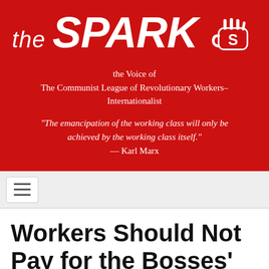[Figure (logo): The Spark masthead logo on red background with raised fist icon]
the Voice of
The Communist League of Revolutionary Workers–
Internationalist
"The emancipation of the working class will only be achieved by the working class itself."
— Karl Marx
[Figure (other): Navigation hamburger menu button]
Workers Should Not Pay for the Bosses' Mess
Aug 22, 2011